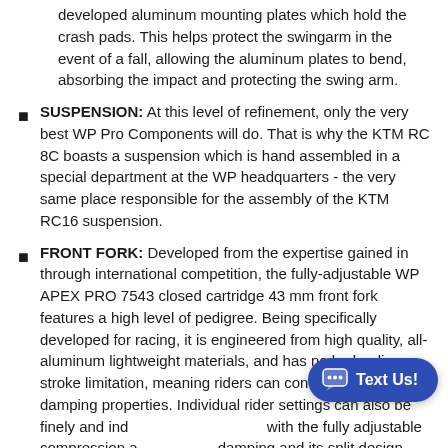developed aluminum mounting plates which hold the crash pads. This helps protect the swingarm in the event of a fall, allowing the aluminum plates to bend, absorbing the impact and protecting the swing arm.
SUSPENSION: At this level of refinement, only the very best WP Pro Components will do. That is why the KTM RC 8C boasts a suspension which is hand assembled in a special department at the WP headquarters - the very same place responsible for the assembly of the KTM RC16 suspension.
FRONT FORK: Developed from the expertise gained in through international competition, the fully-adjustable WP APEX PRO 7543 closed cartridge 43 mm front fork features a high level of pedigree. Being specifically developed for racing, it is engineered from high quality, all-aluminum lightweight materials, and has no hydraulic stroke limitation, meaning riders can continually control the damping properties. Individual rider settings can also be finely and ind with the fully adjustable compression a damping and its split design allows for easy damping